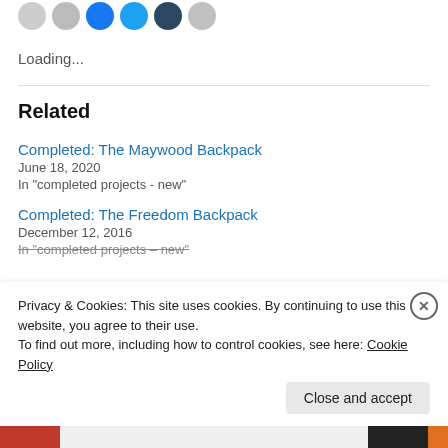[Figure (illustration): Social sharing icon buttons (gray, gray, Facebook blue, Twitter blue, Tumblr dark, gray email)]
Loading...
Related
Completed: The Maywood Backpack
June 18, 2020
In "completed projects - new"
Completed: The Freedom Backpack
December 12, 2016
In "completed projects - new"
Privacy & Cookies: This site uses cookies. By continuing to use this website, you agree to their use.
To find out more, including how to control cookies, see here: Cookie Policy